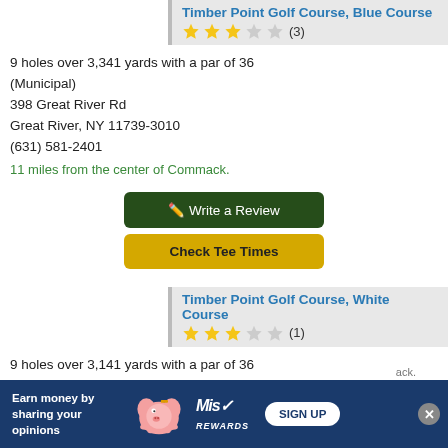Timber Point Golf Course, Blue Course
★★★☆☆ (3)
9 holes over 3,341 yards with a par of 36 (Municipal)
398 Great River Rd
Great River, NY 11739-3010
(631) 581-2401
11 miles from the center of Commack.
✎ Write a Review
Check Tee Times
Timber Point Golf Course, White Course
★★★☆☆ (1)
9 holes over 3,141 yards with a par of 36 (Municipal)
398 Great River Rd
Great River, NY 11739-3010
(631) 581-2401
ack.
[Figure (infographic): Advertisement banner: Earn money by sharing your opinions. Miso Rewards. Sign Up button.]